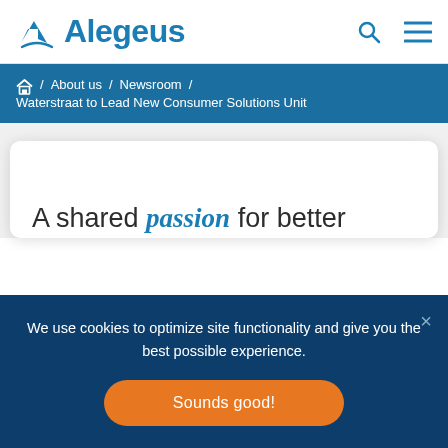Alegeus
Home / About us / Newsroom / Waterstraat to Lead New Consumer Solutions Unit
[Figure (screenshot): Partial view of a white card with text 'A shared passion for better']
We use cookies to optimize site functionality and give you the best possible experience.
Sounds good!